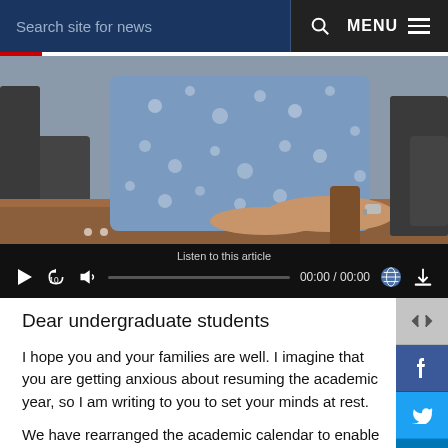Search site for news | MENU
[Figure (photo): Person in floral/patterned blue shirt sitting at a wooden desk with chairs in background. Audio player bar with listen to this article controls showing 00:00 / 00:00.]
Dear undergraduate students
I hope you and your families are well. I imagine that you are getting anxious about resuming the academic year, so I am writing to you to set your minds at rest.
We have rearranged the academic calendar to enable all of you to learn and complete the semester and the academic year. We are aware that some of you might not be able to learn remotely for various reasons, and we